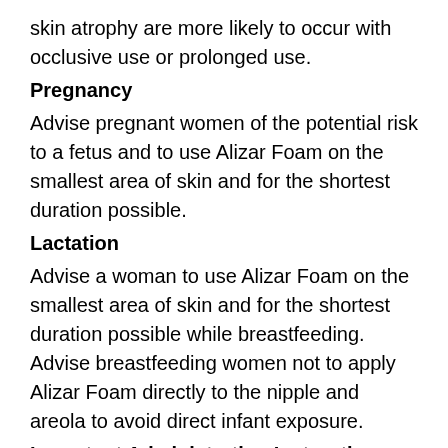skin atrophy are more likely to occur with occlusive use or prolonged use.
Pregnancy
Advise pregnant women of the potential risk to a fetus and to use Alizar Foam on the smallest area of skin and for the shortest duration possible.
Lactation
Advise a woman to use Alizar Foam on the smallest area of skin and for the shortest duration possible while breastfeeding. Advise breastfeeding women not to apply Alizar Foam directly to the nipple and areola to avoid direct infant exposure.
Important Administration Instructions
Inform patients of the following:
Avoid use of Alizar Foam on the face, underarms, or groin areas unless directed by the physician.